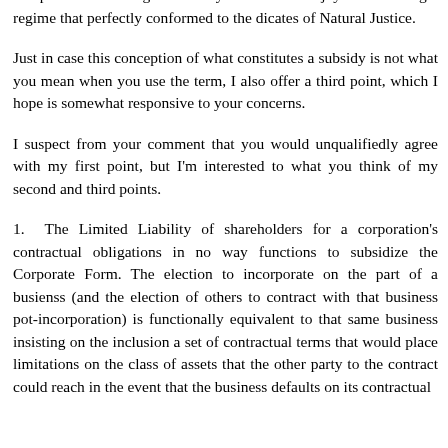a subsidy upon the Corporate Form, which lends corporations a competitive advantage that they would not enjoy under a legal regime that perfectly conformed to the dicates of Natural Justice.
Just in case this conception of what constitutes a subsidy is not what you mean when you use the term, I also offer a third point, which I hope is somewhat responsive to your concerns.
I suspect from your comment that you would unqualifiedly agree with my first point, but I'm interested to what you think of my second and third points.
1. The Limited Liability of shareholders for a corporation's contractual obligations in no way functions to subsidize the Corporate Form. The election to incorporate on the part of a busienss (and the election of others to contract with that business pot-incorporation) is functionally equivalent to that same business insisting on the inclusion a set of contractual terms that would place limitations on the class of assets that the other party to the contract could reach in the event that the business defaults on its contractual